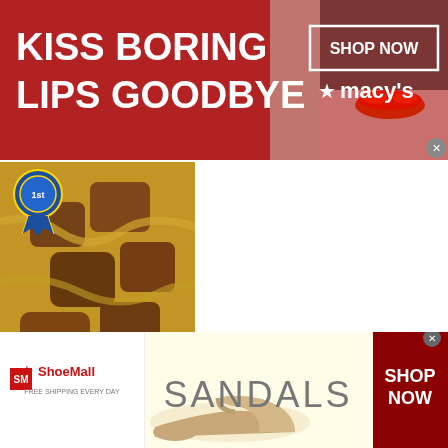[Figure (photo): Macy's advertisement banner with red background, woman's face with red lips, text 'KISS BORING LIPS GOODBYE', 'SHOP NOW' button, Macy's star logo]
[Figure (photo): Beef tips and noodles food photo with blue award ribbon in top-left corner]
Beef Tips and Noodles
[Figure (photo): Advertisement showing grilled chicken with salad bowl and sauce, with X close button in top-right corner]
[Figure (photo): ShoeMall advertisement with sandal shoe, text 'SANDALS', 'SHOP NOW' button on dark red background, ShoeMall logo]